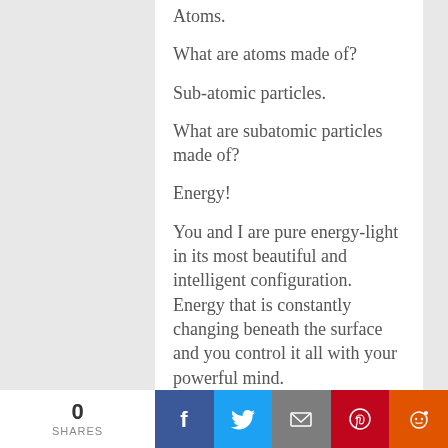Atoms.
What are atoms made of?
Sub-atomic particles.
What are subatomic particles made of?
Energy!
You and I are pure energy-light in its most beautiful and intelligent configuration. Energy that is constantly changing beneath the surface and you control it all with your powerful mind.
You are one big stellar and
0 SHARES | Facebook | Twitter | Email | Pinterest | Reddit